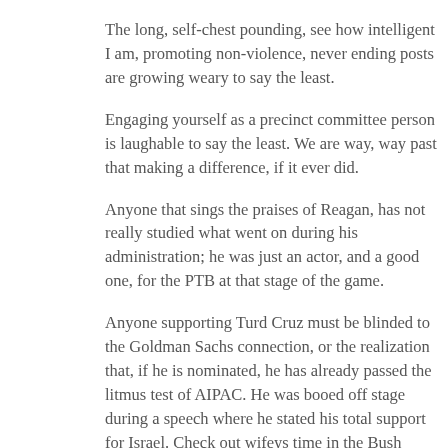The long, self-chest pounding, see how intelligent I am, promoting non-violence, never ending posts are growing weary to say the least.
Engaging yourself as a precinct committee person is laughable to say the least. We are way, way past that making a difference, if it ever did.
Anyone that sings the praises of Reagan, has not really studied what went on during his administration; he was just an actor, and a good one, for the PTB at that stage of the game.
Anyone supporting Turd Cruz must be blinded to the Goldman Sachs connection, or the realization that, if he is nominated, he has already passed the litmus test of AIPAC. He was booed off stage during a speech where he stated his total support for Israel. Check out wifeys time in the Bush administration and then tell us Cruz will save America (she was/is a member of the CFR, does that ring an alarm bell to any of you?)